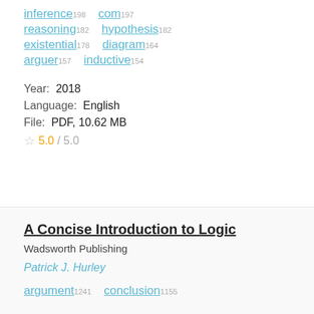inference 198   com 197
reasoning 182   hypothesis 182
existential 178   diagram 164
arguer 157   inductive 154
Year:  2018
Language:  English
File:  PDF, 10.62 MB
5.0 / 5.0
A Concise Introduction to Logic
Wadsworth Publishing
Patrick J. Hurley
argument 1241   conclusion 1155